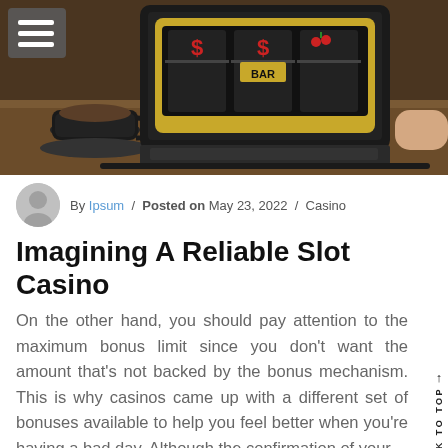[Figure (photo): Hero image showing a laptop with a slot machine game on screen, a coffee cup on the left, and a person's hand on the right. Navigation menu hamburger icon in top-left corner.]
By Ipsum / Posted on May 23, 2022 / Casino
Imagining A Reliable Slot Casino
On the other hand, you should pay attention to the maximum bonus limit since you don't want the amount that's not backed by the bonus mechanism. This is why casinos came up with a different set of bonuses available to help you feel better when you're having a bad day. Although the confirmation of your